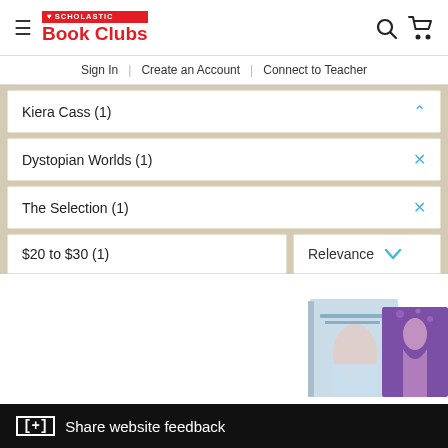Scholastic Book Clubs
Sign In | Create an Account | Connect to Teacher
Kiera Cass (1)
Dystopian Worlds (1)
The Selection (1)
$20 to $30 (1)
Relevance
[Figure (photo): Book covers for The Selection series by Kiera Cass — two overlapping book covers visible, one with a light blue/white cover and one with a purple background featuring a woman in a gown]
[+] Share website feedback